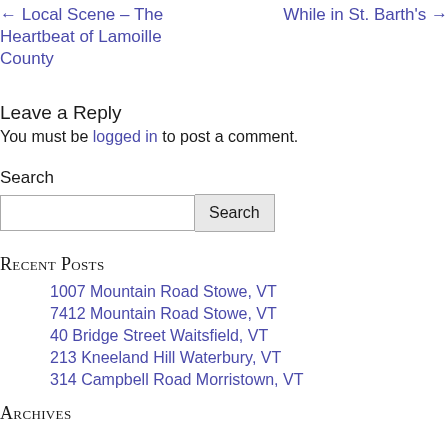← Local Scene – The Heartbeat of Lamoille County | While in St. Barth's →
Leave a Reply
You must be logged in to post a comment.
Search
Recent Posts
1007 Mountain Road Stowe, VT
7412 Mountain Road Stowe, VT
40 Bridge Street Waitsfield, VT
213 Kneeland Hill Waterbury, VT
314 Campbell Road Morristown, VT
Archives